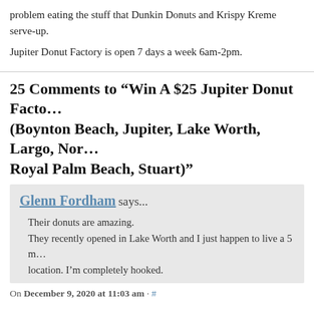problem eating the stuff that Dunkin Donuts and Krispy Kreme serve-up.
Jupiter Donut Factory is open 7 days a week 6am-2pm.
25 Comments to “Win A $25 Jupiter Donut Factory Gift Card (Boynton Beach, Jupiter, Lake Worth, Largo, North Palm Beach, Royal Palm Beach, Stuart)”
Glenn Fordham says...
Their donuts are amazing.
They recently opened in Lake Worth and I just happen to live a 5 m... location. I’m completely hooked.
On December 9, 2020 at 11:03 am · #
Len Jameson says...
awesome donuts.
On December 9, 2020 at 11:04 am · #
Bosco The Clown says...
The best donuts in Florida, in no particular order…
Dandee...